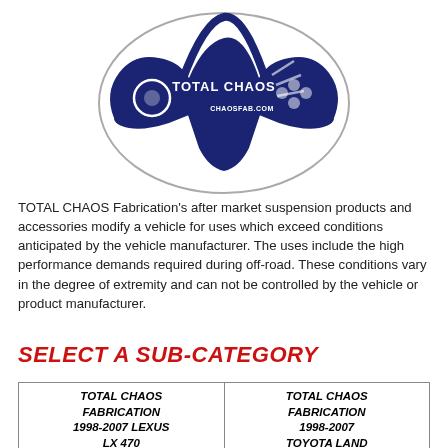[Figure (logo): Total Chaos Fabrication logo — dark navy blue stylized off-road vehicle/controller graphic with 'TOTAL CHAOS' and website text on a white background with grey outline]
TOTAL CHAOS Fabrication's after market suspension products and accessories modify a vehicle for uses which exceed conditions anticipated by the vehicle manufacturer. The uses include the high performance demands required during off-road. These conditions vary in the degree of extremity and can not be controlled by the vehicle or product manufacturer.
SELECT A SUB-CATEGORY
| TOTAL CHAOS FABRICATION 1998-2007 LEXUS LX 470 | TOTAL CHAOS FABRICATION 1998-2007 TOYOTA LAND CRUISER 100 |
| TOTAL CHAOS FABRICATION 2003-2009 LEXUS GX 470 | TOTAL CHAOS FABRICATION 2003-2009 TOYOTA PRADO 120 |
| TOTAL CHAOS FABRICATION 2005-2015 [cut off] | TOTAL CHAOS FABRICATION 2005-2015 [cut off] |